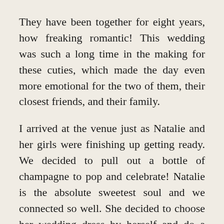They have been together for eight years, how freaking romantic! This wedding was such a long time in the making for these cuties, which made the day even more emotional for the two of them, their closest friends, and their family.
I arrived at the venue just as Natalie and her girls were finishing up getting ready. We decided to pull out a bottle of champagne to pop and celebrate! Natalie is the absolute sweetest soul and we connected so well. She decided to choose her wedding dress by herself and do a first look with her sisters and her mom on her wedding day. I absolutely loved getting to watch their complete surprise and excitement as they saw Natalie in her wedding dress for the very first time! It was such